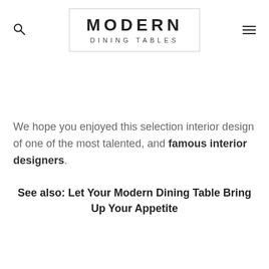[Figure (logo): Modern Dining Tables logo in a bordered box with bold MODERN text and smaller DINING TABLES subtitle]
We hope you enjoyed this selection interior design of one of the most talented, and famous interior designers.
See also: Let Your Modern Dining Table Bring Up Your Appetite